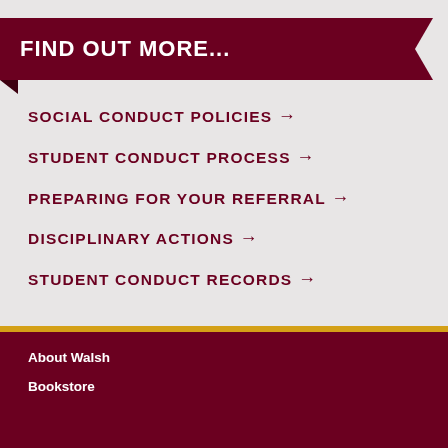FIND OUT MORE...
SOCIAL CONDUCT POLICIES →
STUDENT CONDUCT PROCESS →
PREPARING FOR YOUR REFERRAL →
DISCIPLINARY ACTIONS →
STUDENT CONDUCT RECORDS →
About Walsh
Bookstore